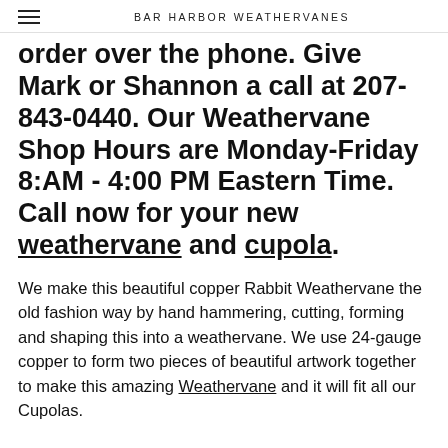BAR HARBOR WEATHERVANES
order over the phone. Give Mark or Shannon a call at 207-843-0440. Our Weathervane Shop Hours are Monday-Friday 8:AM - 4:00 PM Eastern Time. Call now for your new weathervane and cupola.
We make this beautiful copper Rabbit Weathervane the old fashion way by hand hammering, cutting, forming and shaping this into a weathervane. We use 24-gauge copper to form two pieces of beautiful artwork together to make this amazing Weathervane and it will fit all our Cupolas.